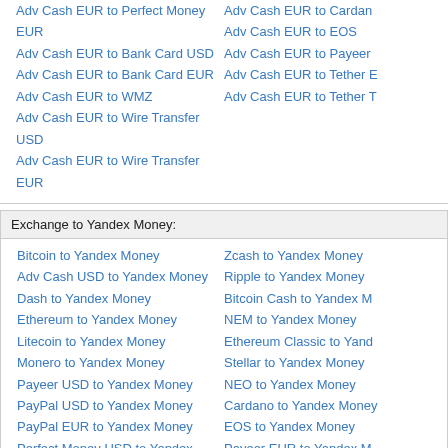Adv Cash EUR to Perfect Money EUR
Adv Cash EUR to Bank Card USD
Adv Cash EUR to Bank Card EUR
Adv Cash EUR to WMZ
Adv Cash EUR to Wire Transfer USD
Adv Cash EUR to Wire Transfer EUR
Adv Cash EUR to Cardan
Adv Cash EUR to EOS
Adv Cash EUR to Payeer
Adv Cash EUR to Tether E
Adv Cash EUR to Tether T
Exchange to Yandex Money:
Bitcoin to Yandex Money
Adv Cash USD to Yandex Money
Dash to Yandex Money
Ethereum to Yandex Money
Litecoin to Yandex Money
Monero to Yandex Money
Payeer USD to Yandex Money
PayPal USD to Yandex Money
PayPal EUR to Yandex Money
Perfect Money USD to Yandex Money
Perfect Money EUR to Yandex Money
Tether OMNI to Yandex Money
Zcash to Yandex Money
Ripple to Yandex Money
Bitcoin Cash to Yandex M
NEM to Yandex Money
Ethereum Classic to Yand
Stellar to Yandex Money
NEO to Yandex Money
Cardano to Yandex Money
EOS to Yandex Money
Payeer EUR to Yandex M
Tether ERC20 to Yandex M
Tether TRC20 to Yandex M
Information about system Advanced Cash
Advanced Cash - is an easy to use payment platform combining the features of an e-currency platform, and more. Get paid by affiliate programs and other businesses, withdraw funds cards worldwide, use virtual and plastic cards, manage mass payments and payroll solutions, commerce payments. These are only a few things Advanced Cash can help you with. It and best of all, almost free to use.